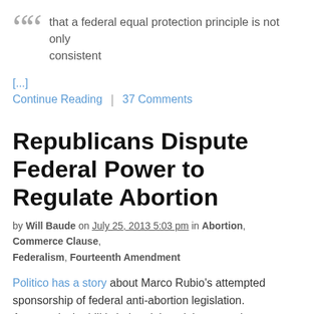that a federal equal protection principle is not only consistent
[...]
Continue Reading  |  37 Comments
Republicans Dispute Federal Power to Regulate Abortion
by Will Baude on July 25, 2013 5:03 pm in Abortion, Commerce Clause, Federalism, Fourteenth Amendment
Politico has a story about Marco Rubio's attempted sponsorship of federal anti-abortion legislation. Apparently the bill is being delayed, however, by a dispute about federal power to regulate abortion:
Rubio and 27 other Republican senators signed onto